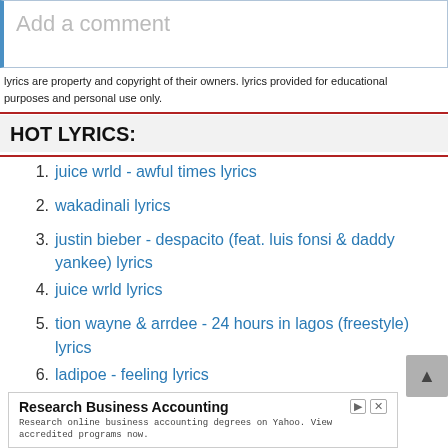[Figure (screenshot): Comment input box with placeholder text 'Add a comment' and blue left border]
lyrics are property and copyright of their owners. lyrics provided for educational purposes and personal use only.
HOT LYRICS:
juice wrld - awful times lyrics
wakadinali lyrics
justin bieber - despacito (feat. luis fonsi & daddy yankee) lyrics
juice wrld lyrics
tion wayne & arrdee - 24 hours in lagos (freestyle) lyrics
ladipoe - feeling lyrics
[Figure (screenshot): Advertisement for Research Business Accounting on Yahoo with Learn More button]